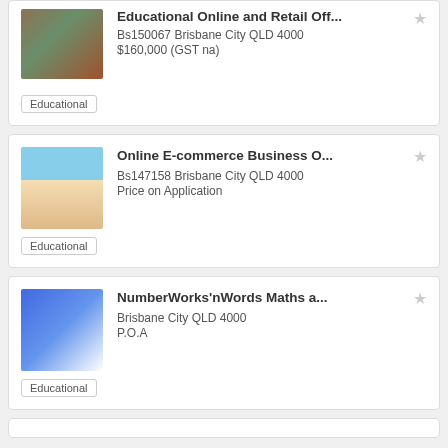[Figure (photo): Bookshelf/store interior with shelves of products]
Educational Online and Retail Off...
Bs150067 Brisbane City QLD 4000
$160,000 (GST na)
Educational
[Figure (photo): Person at beach with dog]
Online E-commerce Business O...
Bs147158 Brisbane City QLD 4000
Price on Application
Educational
[Figure (photo): Tutor and students working at a table with a laptop]
NumberWorks'nWords Maths a...
Brisbane City QLD 4000
P.O.A
Educational